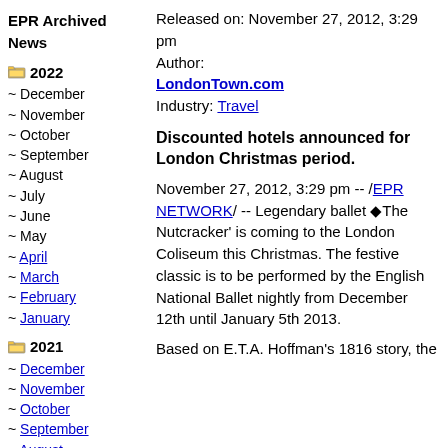EPR Archived News
2022
~ December
~ November
~ October
~ September
~ August
~ July
~ June
~ May
~ April
~ March
~ February
~ January
2021
~ December
~ November
~ October
~ September
~ August
~ July
~ June
Released on: November 27, 2012, 3:29 pm
Author: LondonTown.com
Industry: Travel
Discounted hotels announced for London Christmas period.
November 27, 2012, 3:29 pm -- /EPR NETWORK/ -- Legendary ballet ‘The Nutcracker' is coming to the London Coliseum this Christmas. The festive classic is to be performed by the English National Ballet nightly from December 12th until January 5th 2013.
Based on E.T.A. Hoffman's 1816 story, the